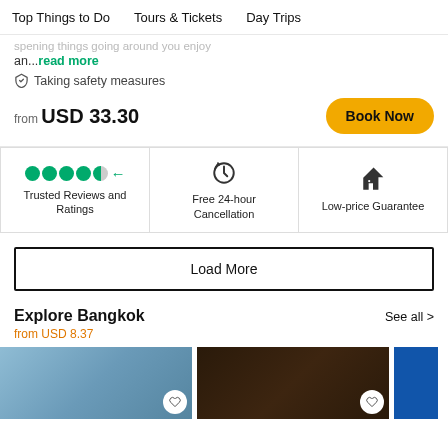Top Things to Do   Tours & Tickets   Day Trips
an...read more
Taking safety measures
from USD 33.30
Book Now
Trusted Reviews and Ratings
Free 24-hour Cancellation
Low-price Guarantee
Load More
Explore Bangkok
from USD 8.37
See all >
[Figure (photo): Bangkok travel image 1]
[Figure (photo): Bangkok travel image 2]
[Figure (photo): Bangkok travel image 3 (partially visible)]